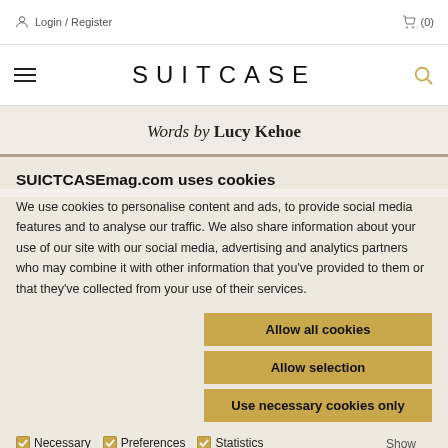Login / Register | (0)
SUITCASE
Words by Lucy Kehoe
SUICTCASEmag.com uses cookies
We use cookies to personalise content and ads, to provide social media features and to analyse our traffic. We also share information about your use of our site with our social media, advertising and analytics partners who may combine it with other information that you've provided to them or that they've collected from your use of their services.
Allow all cookies | Allow selection | Use necessary cookies only
Necessary  Preferences  Statistics  Marketing  Show details